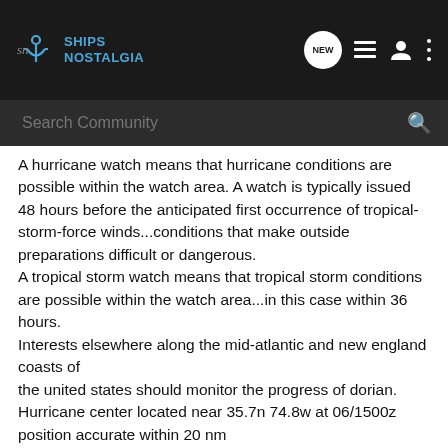[Figure (logo): Ships Nostalgia logo and navigation bar with anchor icon, NEW badge, list icon, user icon, and dots icon on dark background]
[Figure (screenshot): Search Community search bar on dark grey background]
A hurricane watch means that hurricane conditions are possible within the watch area. A watch is typically issued 48 hours before the anticipated first occurrence of tropical-storm-force winds...conditions that make outside preparations difficult or dangerous.
A tropical storm watch means that tropical storm conditions are possible within the watch area...in this case within 36 hours.
Interests elsewhere along the mid-atlantic and new england coasts of
the united states should monitor the progress of dorian.
Hurricane center located near 35.7n 74.8w at 06/1500z position accurate within 20 nm